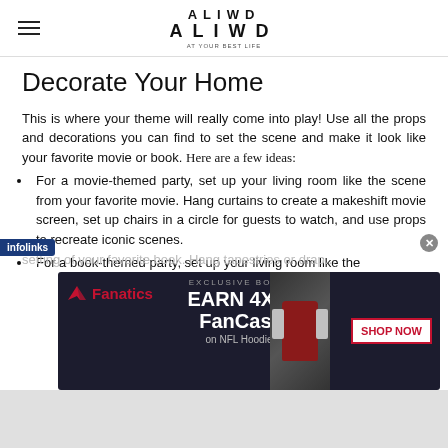ALIWD / ALIWD - At Your Best Life
Decorate Your Home
This is where your theme will really come into play! Use all the props and decorations you can find to set the scene and make it look like your favorite movie or book.   Here are a few ideas:
For a movie-themed party, set up your living room like the scene from your favorite movie. Hang curtains to create a makeshift movie screen, set up chairs in a circle for guests to watch, and use props to recreate iconic scenes.
For a book-themed party, set up your living room like the setting of your favorite book. Hang tapestries or drap...
[Figure (screenshot): Fanatics advertisement banner: EXCLUSIVE BONUS - EARN 4X FanCash on NFL Hoodies, with SHOP NOW button and Fanatics logo]